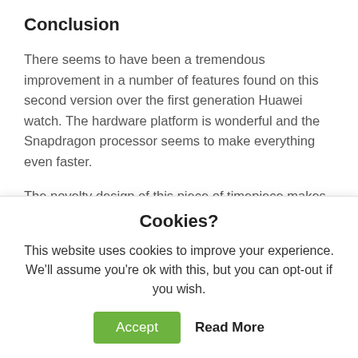Conclusion
There seems to have been a tremendous improvement in a number of features found on this second version over the first generation Huawei watch. The hardware platform is wonderful and the Snapdragon processor seems to make everything even faster.
The novelty design of this piece of timepiece makes it stronger and more durable, most especially with the double layer strap. The OS android wear 2.0 is the latest android wear version for any similar products on
Cookies?
This website uses cookies to improve your experience. We'll assume you're ok with this, but you can opt-out if you wish.
Accept   Read More